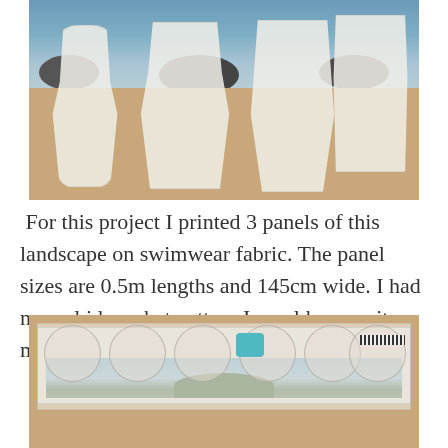[Figure (photo): Photo of white/translucent fabric pieces (cut pattern pieces) laid out on a brown cardboard surface, with a coastal/beach background visible behind them showing rocks and water.]
For this project I printed 3 panels of this landscape on swimwear fabric. The panel sizes are 0.5m lengths and 145cm wide. I had no real idea what pattern I would use so it made sense to get 2 lengths.
[Figure (photo): Photo of a pattern paper laid on a brown cardboard surface, with fabric pieces placed on top showing a landscape printed design with coastal scenery (island, water). A small teal/turquoise square object sits on top, and a barcode label is visible on the right.]